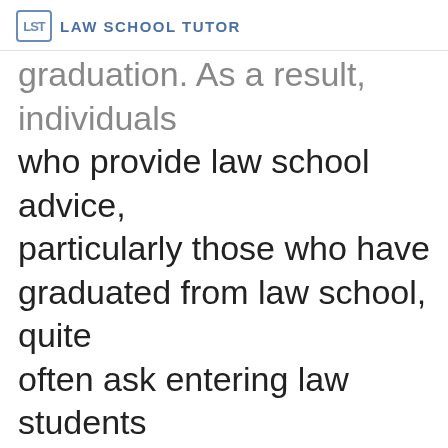LST LAW SCHOOL TUTOR
graduation. As a result, individuals who provide law school advice, particularly those who have graduated from law school, quite often ask entering law students about the law school numbers.
Other than law school rankings, law school numbers that potential law school students should be aware of are the cost to attend the law school, including out-of-